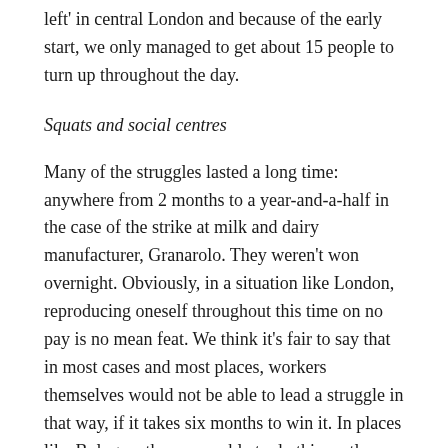left' in central London and because of the early start, we only managed to get about 15 people to turn up throughout the day.
Squats and social centres
Many of the struggles lasted a long time: anywhere from 2 months to a year-and-a-half in the case of the strike at milk and dairy manufacturer, Granarolo. They weren't won overnight. Obviously, in a situation like London, reproducing oneself throughout this time on no pay is no mean feat. We think it's fair to say that in most cases and most places, workers themselves would not be able to lead a struggle in that way, if it takes six months to win it. In places like Bologna, they were able to do this partly because of squats that local groups organise on a large scale. Not having to pay rent and